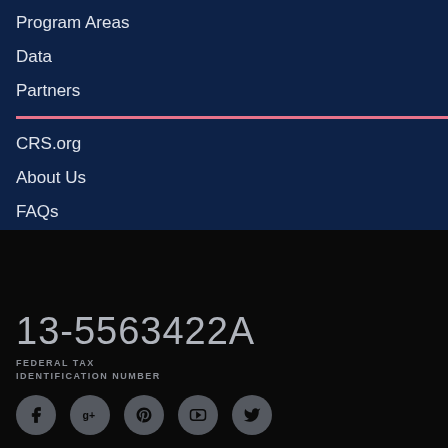Program Areas
Data
Partners
CRS.org
About Us
FAQs
Subscribe
13-5563422A
FEDERAL TAX
IDENTIFICATION NUMBER
[Figure (infographic): Social media icons: Facebook, Google+, Pinterest, YouTube, Twitter — grey circles on black background]